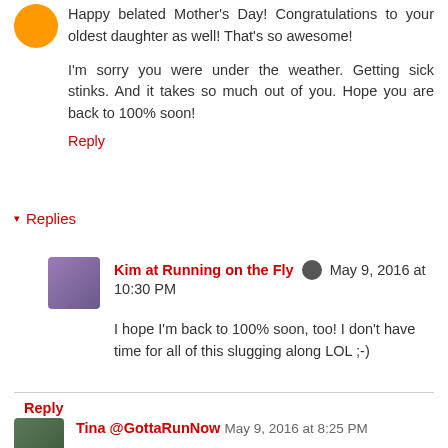Happy belated Mother's Day! Congratulations to your oldest daughter as well! That's so awesome!
I'm sorry you were under the weather. Getting sick stinks. And it takes so much out of you. Hope you are back to 100% soon!
Reply
▾ Replies
Kim at Running on the Fly  May 9, 2016 at 10:30 PM
I hope I'm back to 100% soon, too! I don't have time for all of this slugging along LOL ;-)
Reply
Tina @GottaRunNow  May 9, 2016 at 8:25 PM
What a busy week you've had! You've reminded me that it's been far too long since I've had a chai latte - maybe in the